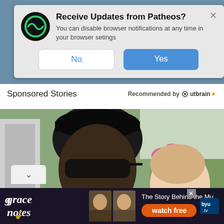[Figure (screenshot): Browser notification popup from Patheos asking user to receive updates. Has a Patheos logo (circular with green arc), title 'Receive Updates from Patheos?', body text 'You can disable browser notifications at any time in your browser setings', and two buttons: 'No' (white) and 'Yes' (blue). An X close button is in the top right.]
Sponsored Stories
Recommended by Outbrain
[Figure (photo): Photo of a man wearing a black cap and sunglasses, smiling broadly, with a girl beside him who has a pink bow in her hair. Background shows an outdoor suburban setting with grass and trees.]
[Figure (screenshot): Bottom advertisement banner for 'grace notes' on BYU TV. Shows text 'The Story Behind the Mus...' and 'watch free' on orange button, with BYU tv logo and images of musicians.]